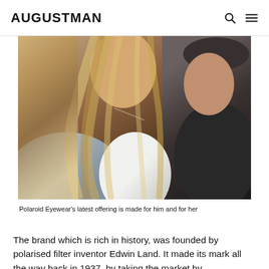AUGUSTMAN
[Figure (photo): Two people (a woman with long blonde hair and a man in a dark cap) photographed from below in bright sunlight, showing a close cropped view of their faces and upper bodies]
Polaroid Eyewear's latest offering is made for him and for her
The brand which is rich in history, was founded by polarised filter inventor Edwin Land. It made its mark all the way back in 1937, by taking the market by